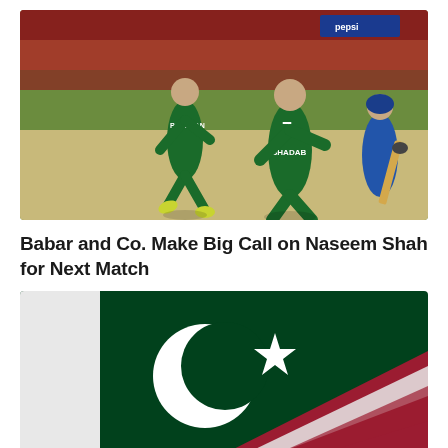[Figure (photo): Pakistan cricket players in green jerseys on a cricket field during a match. Player with 'PAKISTAN' on jersey running, another player wearing jersey number 7 with 'SHADAB' on back, and a blue-jersey batsman visible in background.]
Babar and Co. Make Big Call on Naseem Shah for Next Match
[Figure (photo): Close-up photograph of the Pakistan national flag showing the green background with white crescent moon and star, with a red and white diagonal stripe across the lower right portion.]